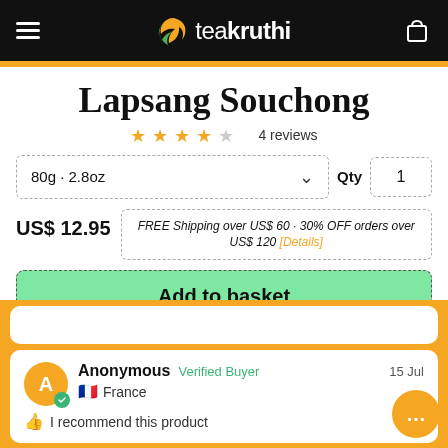teakruthi
Lapsang Souchong
★★★★½ 4 reviews
80g · 2.8oz  Qty 1
US$ 12.95  FREE Shipping over US$ 60 · 30% OFF orders over US$ 120 [Details]
Add to basket
Anonymous  Verified Buyer  15 Jul  France  I recommend this product